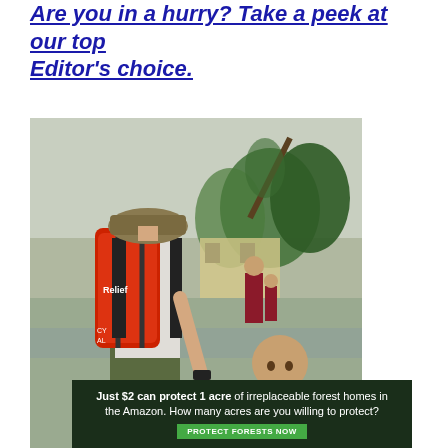Are you in a hurry? Take a peek at our top Editor's choice.
[Figure (photo): A relief worker with a red emergency backpack labeled 'Relief' holds the hand of a young child. In the background, storm-damaged trees and a woman with children walking near damaged buildings in what appears to be a disaster zone.]
[Figure (photo): Advertisement banner with dark green background showing forest imagery. Text reads: 'Just $2 can protect 1 acre of irreplaceable forest homes in the Amazon. How many acres are you willing to protect?' with a green button labeled 'PROTECT FORESTS NOW'.]